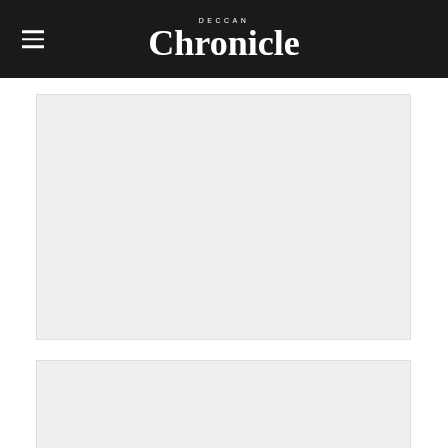Deccan Chronicle
[Figure (other): Gray advertisement placeholder block 1]
[Figure (other): Gray advertisement placeholder block 2]
Add Vuukle   Privacy   Vuukle
[Figure (other): Promotional banner: When speed, scale and results matter most — with worker silhouette and chat button]